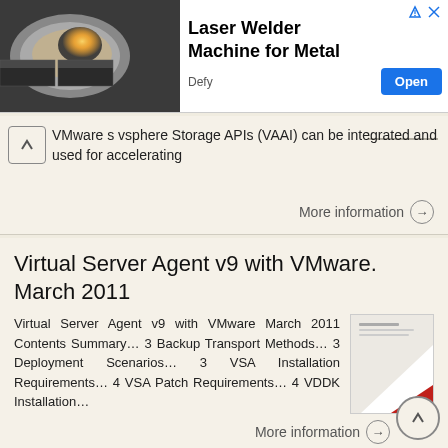[Figure (illustration): Advertisement banner: Laser Welder Machine for Metal by Defy. Shows metallic laser welding machine image on left, bold title and Open button on right.]
VMware s vsphere Storage APIs (VAAI) can be integrated and used for accelerating
More information →
Virtual Server Agent v9 with VMware. March 2011
Virtual Server Agent v9 with VMware March 2011 Contents Summary… 3 Backup Transport Methods… 3 Deployment Scenarios… 3 VSA Installation Requirements… 4 VSA Patch Requirements… 4 VDDK Installation…
More information →